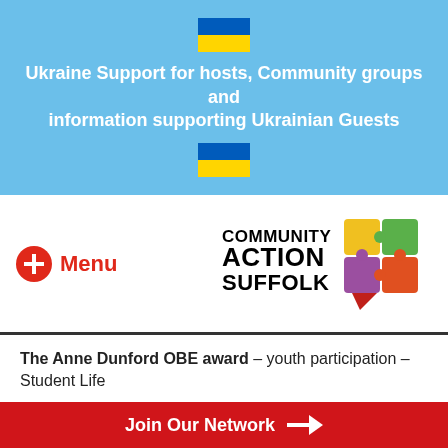Ukraine Support for hosts, Community groups and information supporting Ukrainian Guests
[Figure (logo): Community Action Suffolk logo with colorful puzzle pieces in a speech bubble shape]
Menu
The Anne Dunford OBE award – youth participation – Student Life
Join Our Network →